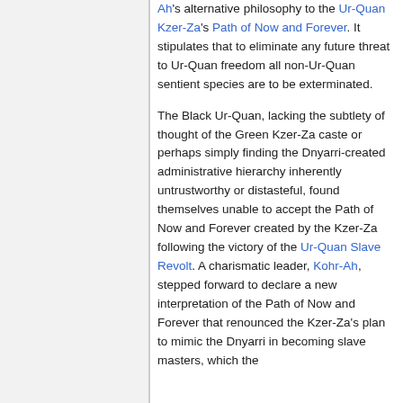Ah's alternative philosophy to the Ur-Quan Kzer-Za's Path of Now and Forever. It stipulates that to eliminate any future threat to Ur-Quan freedom all non-Ur-Quan sentient species are to be exterminated.
The Black Ur-Quan, lacking the subtlety of thought of the Green Kzer-Za caste or perhaps simply finding the Dnyarri-created administrative hierarchy inherently untrustworthy or distasteful, found themselves unable to accept the Path of Now and Forever created by the Kzer-Za following the victory of the Ur-Quan Slave Revolt. A charismatic leader, Kohr-Ah, stepped forward to declare a new interpretation of the Path of Now and Forever that renounced the Kzer-Za's plan to mimic the Dnyarri in becoming slave masters, which the